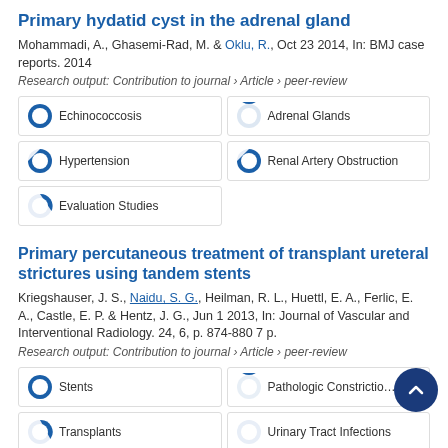Primary hydatid cyst in the adrenal gland
Mohammadi, A., Ghasemi-Rad, M. & Oklu, R., Oct 23 2014, In: BMJ case reports. 2014
Research output: Contribution to journal › Article › peer-review
100% Echinococcosis
90% Adrenal Glands
60% Hypertension
56% Renal Artery Obstruction
43% Evaluation Studies
Primary percutaneous treatment of transplant ureteral strictures using tandem stents
Kriegshauser, J. S., Naidu, S. G., Heilman, R. L., Huettl, E. A., Ferlic, E. A., Castle, E. P. & Hentz, J. G., Jun 1 2013, In: Journal of Vascular and Interventional Radiology. 24, 6, p. 874-880 7 p.
Research output: Contribution to journal › Article › peer-review
100% Stents
90% Pathologic Constriction
70% Transplants
46% Urinary Tract Infections